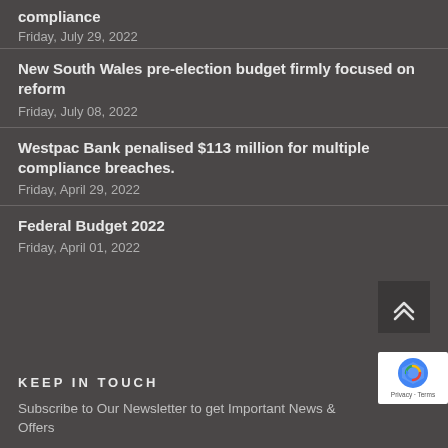compliance
Friday, July 29, 2022
New South Wales pre-election budget firmly focused on reform
Friday, July 08, 2022
Westpac Bank penalised $113 million for multiple compliance breaches.
Friday, April 29, 2022
Federal Budget 2022
Friday, April 01, 2022
KEEP IN TOUCH
Subscribe to Our Newsletter to get Important News & Offers